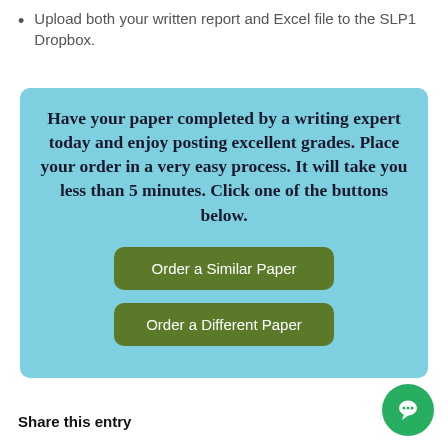Upload both your written report and Excel file to the SLP1 Dropbox.
[Figure (infographic): Light blue rounded box containing bold promotional text and two green buttons labeled 'Order a Similar Paper' and 'Order a Different Paper'.]
Share this entry